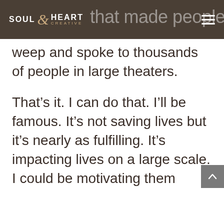Soul & Heart Creative — navigation bar with partial text 'that made people'
weep and spoke to thousands of people in large theaters.
That’s it. I can do that. I’ll be famous. It’s not saving lives but it’s nearly as fulfilling. It’s impacting lives on a large scale. I could be motivating them